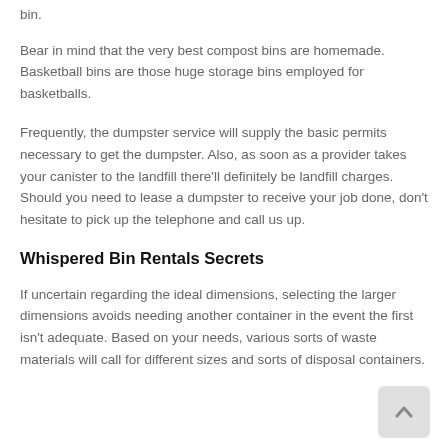bin.
Bear in mind that the very best compost bins are homemade. Basketball bins are those huge storage bins employed for basketballs.
Frequently, the dumpster service will supply the basic permits necessary to get the dumpster. Also, as soon as a provider takes your canister to the landfill there'll definitely be landfill charges. Should you need to lease a dumpster to receive your job done, don't hesitate to pick up the telephone and call us up.
Whispered Bin Rentals Secrets
If uncertain regarding the ideal dimensions, selecting the larger dimensions avoids needing another container in the event the first isn't adequate. Based on your needs, various sorts of waste materials will call for different sizes and sorts of disposal containers.